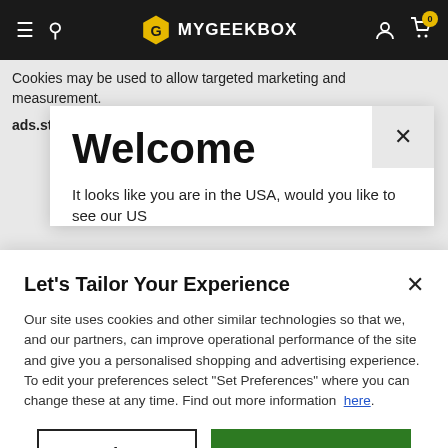[Figure (screenshot): MyGeekBox website navigation bar with hamburger menu, search icon, logo (hexagon G icon and MYGEEKBOX text), person icon, and shopping cart with badge showing 0]
Cookies may be used to allow targeted marketing and measurement.
ads.stickyadstv.com
Welcome
It looks like you are in the USA, would you like to see our US
Let's Tailor Your Experience
Our site uses cookies and other similar technologies so that we, and our partners, can improve operational performance of the site and give you a personalised shopping and advertising experience. To edit your preferences select "Set Preferences" where you can change these at any time. Find out more information here.
Set Preferences
That's OK